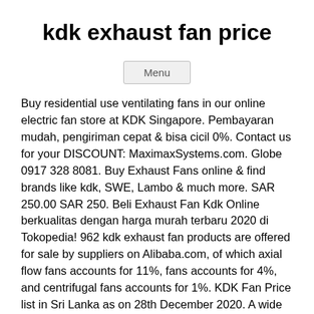kdk exhaust fan price
Menu
Buy residential use ventilating fans in our online electric fan store at KDK Singapore. Pembayaran mudah, pengiriman cepat & bisa cicil 0%. Contact us for your DISCOUNT: MaximaxSystems.com. Globe 0917 328 8081. Buy Exhaust Fans online & find brands like kdk, SWE, Lambo & much more. SAR 250.00 SAR 250. Beli Exhaust Fan Kdk Online berkualitas dengan harga murah terbaru 2020 di Tokopedia! 962 kdk exhaust fan products are offered for sale by suppliers on Alibaba.com, of which axial flow fans accounts for 11%, fans accounts for 4%, and centrifugal fans accounts for 1%. KDK Fan Price list in Sri Lanka as on 28th December 2020. A wide variety of kdk ceiling fan price options are available to you, There are 9 suppliers who sells kdk ceiling fan price on Alibaba.com, mainly located in Asia. PRICE LIST & REVIEW (as of Sept. 17, 2020) Available nationwide. Buy Wall fans in our online electric fan store at KDK Singapore! 00. 6inch KDK Exhaust Fan for Wall Exhaust Fan Full Plastic Portable Ventilation Fan Item No. Also, it promotes comfort so, you won't feel like you are suffocating Features: Buildings nowadays, especially homes are tightly built with aluminium casing windows and rubber lining doors in order to retain energy efficiency. 513 kdk ceiling fan price products are offered for sale by suppliers on